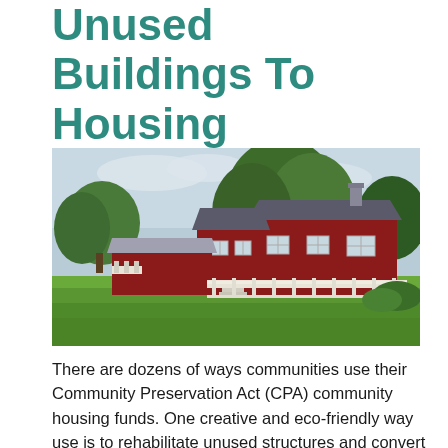Unused Buildings To Housing
[Figure (photo): Exterior photograph of a red barn-style residential building complex with a large green lawn in the foreground, white deck/railing, and trees in the background under a partly cloudy sky.]
There are dozens of ways communities use their Community Preservation Act (CPA) community housing funds. One creative and eco-friendly way use is to rehabilitate unused structures and convert them to housing units. This is commonly referred to as 'adaptive